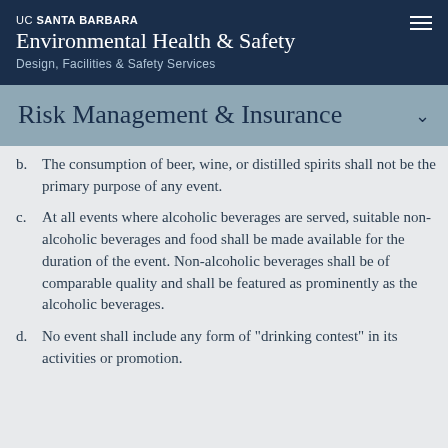UC SANTA BARBARA Environmental Health & Safety Design, Facilities & Safety Services
Risk Management & Insurance
b. The consumption of beer, wine, or distilled spirits shall not be the primary purpose of any event.
c. At all events where alcoholic beverages are served, suitable non- alcoholic beverages and food shall be made available for the duration of the event. Non-alcoholic beverages shall be of comparable quality and shall be featured as prominently as the alcoholic beverages.
d. No event shall include any form of "drinking contest" in its activities or promotion.